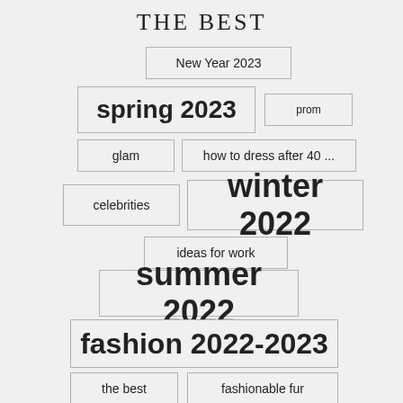THE BEST
New Year 2023
spring 2023
prom
glam
how to dress after 40 ...
celebrities
winter 2022
ideas for work
summer 2022
fashion 2022-2023
the best
fashionable fur
leather clothing
autumn 2022